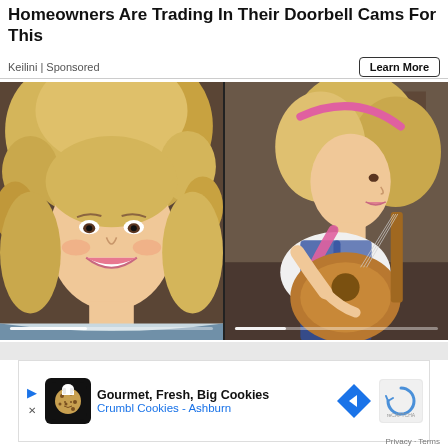Homeowners Are Trading In Their Doorbell Cams For This
Keilini | Sponsored
Learn More
[Figure (photo): Two side-by-side photos: left is a close-up portrait of a blonde woman with voluminous curly hair smiling at camera; right shows a woman with blonde hair and a pink headband playing an acoustic guitar]
[Figure (infographic): Advertisement banner for Crumbl Cookies - Ashburn: 'Gourmet, Fresh, Big Cookies' with cookie icon, navigation arrow icon, and reCAPTCHA widget]